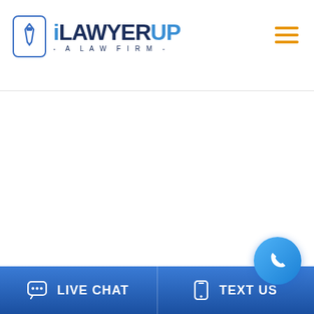[Figure (logo): iLawyerUp - A Law Firm logo with tie icon in a rounded rectangle, blue and dark navy text]
[Figure (other): Hamburger menu icon with three orange horizontal lines in top right corner]
LIVE CHAT
TEXT US
[Figure (other): Blue circular phone call FAB button with white phone icon]